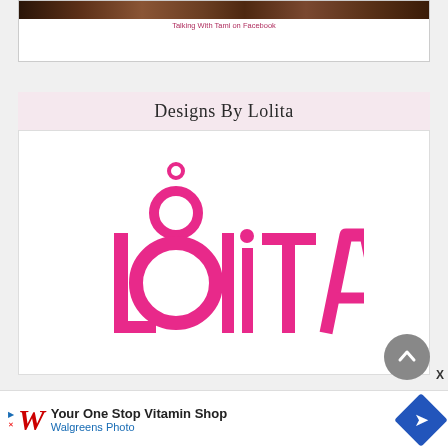[Figure (photo): Dark photo strip at top of a content block]
Talking With Tami on Facebook
Designs By Lolita
[Figure (logo): Lolita brand logo in hot pink with circular dot elements on the letters]
Your One Stop Vitamin Shop
Walgreens Photo